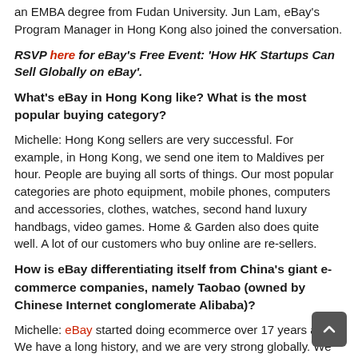an EMBA degree from Fudan University. Jun Lam, eBay's Program Manager in Hong Kong also joined the conversation.
RSVP here for eBay's Free Event: 'How HK Startups Can Sell Globally on eBay'.
What's eBay in Hong Kong like? What is the most popular buying category?
Michelle: Hong Kong sellers are very successful. For example, in Hong Kong, we send one item to Maldives per hour. People are buying all sorts of things. Our most popular categories are photo equipment, mobile phones, computers and accessories, clothes, watches, second hand luxury handbags, video games. Home & Garden also does quite well. A lot of our customers who buy online are re-sellers.
How is eBay differentiating itself from China's giant e-commerce companies, namely Taobao (owned by Chinese Internet conglomerate Alibaba)?
Michelle: eBay started doing ecommerce over 17 years ago. We have a long history, and we are very strong globally. We have local websites in 25 countries, and.more than 152 million active users around the world. At any given time, we